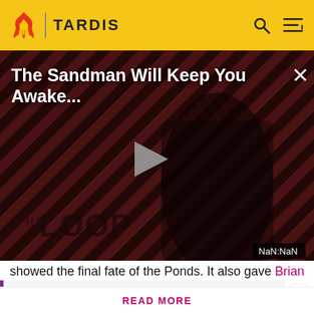TARDIS
[Figure (screenshot): Video player thumbnail showing 'The Sandman Will Keep You Awake...' with a dark figure in black against diagonal striped background and THE LOOP branding. Play button visible in center. Time displays NaN:NaN.]
showed the final fate of the Ponds. It also gave Brian
Spoilers are precisely defined here. Rules vary by the story's medium. Info from television stories can't be added here
READ MORE